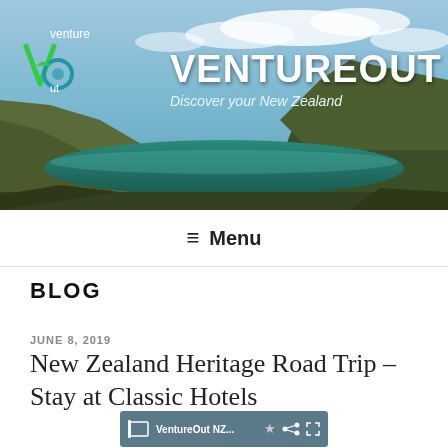[Figure (photo): Header banner of VentureOut website showing a New Zealand alpine landscape with a turquoise lake, green hills, and cloudy sky. Includes the VentureOut logo (green V with blue circle) on the left and site title 'VENTUREOUT' with tagline 'Discover your New Zealand' in white text.]
≡ Menu
BLOG
JUNE 8, 2019
New Zealand Heritage Road Trip – Stay at Classic Hotels
[Figure (screenshot): Video embed thumbnail showing VentureOut NZ... with a star icon, share icon, and expand icon on a dark teal/grey background]